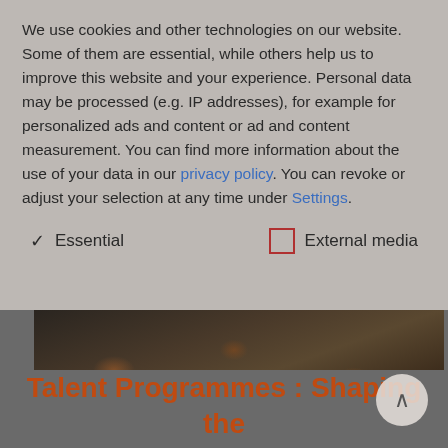We use cookies and other technologies on our website. Some of them are essential, while others help us to improve this website and your experience. Personal data may be processed (e.g. IP addresses), for example for personalized ads and content or ad and content measurement. You can find more information about the use of your data in our privacy policy. You can revoke or adjust your selection at any time under Settings.
✓ Essential    □ External media
[Figure (photo): A dark overhead photo strip showing papers/maps on a table, partially illuminated with reddish-orange accents.]
Talent Programmes : Shaping the Future of the Company Today